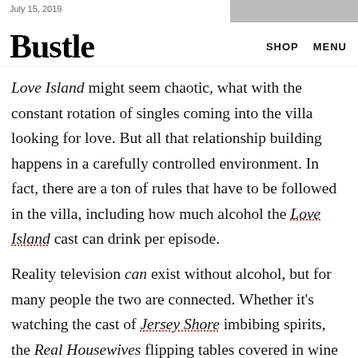July 15, 2019
Bustle
Love Island might seem chaotic, what with the constant rotation of singles coming into the villa looking for love. But all that relationship building happens in a carefully controlled environment. In fact, there are a ton of rules that have to be followed in the villa, including how much alcohol the Love Island cast can drink per episode.
Reality television can exist without alcohol, but for many people the two are connected. Whether it's watching the cast of Jersey Shore imbibing spirits, the Real Housewives flipping tables covered in wine glasses after too much pinot, or Bachelor contestants